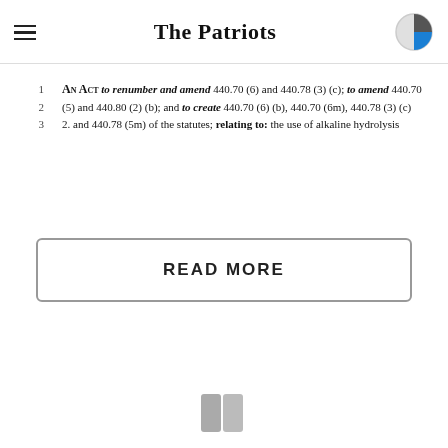The Patriots
1   AN ACT to renumber and amend 440.70 (6) and 440.78 (3) (c); to amend 440.70
2   (5) and 440.80 (2) (b); and to create 440.70 (6) (b), 440.70 (6m), 440.78 (3) (c)
3   2. and 440.78 (5m) of the statutes; relating to: the use of alkaline hydrolysis
READ MORE